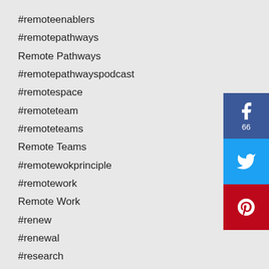#remoteenablers
#remotepathways
Remote Pathways
#remotepathwayspodcast
#remotespace
#remoteteam
#remoteteams
Remote Teams
#remotewokprinciple
#remotework
Remote Work
#renew
#renewal
#research
#results
Results Check
Retreats
#returntooffice
#revetmodel
[Figure (infographic): Facebook share button with count 66, Twitter share button, Pinterest share button]